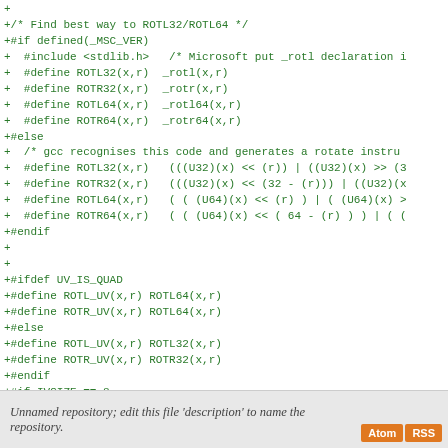[Figure (screenshot): Code diff screenshot showing C preprocessor macros for ROTL32/ROTL64/ROTR32/ROTR64 bit rotation operations, including platform-specific branches for _MSC_VER and UV_IS_QUAD, with lines prefixed by '+' indicating additions in green monospace font.]
Unnamed repository; edit this file 'description' to name the repository.